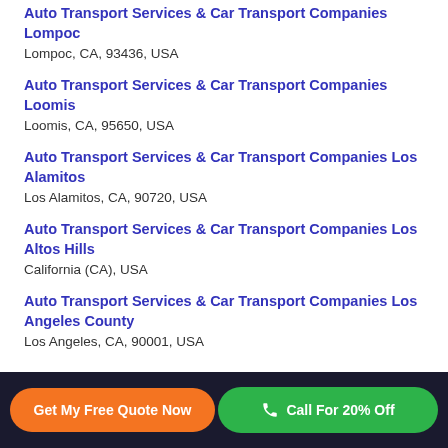Auto Transport Services & Car Transport Companies Lompoc
Lompoc, CA, 93436, USA
Auto Transport Services & Car Transport Companies Loomis
Loomis, CA, 95650, USA
Auto Transport Services & Car Transport Companies Los Alamitos
Los Alamitos, CA, 90720, USA
Auto Transport Services & Car Transport Companies Los Altos Hills
California (CA), USA
Auto Transport Services & Car Transport Companies Los Angeles County
Los Angeles, CA, 90001, USA